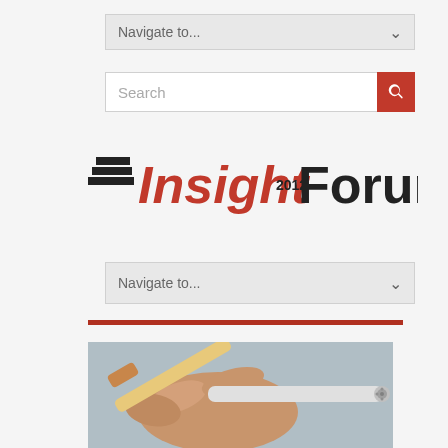[Figure (screenshot): Navigate to... dropdown menu (top)]
[Figure (screenshot): Search input bar with red search button icon]
[Figure (logo): Insight 2012 Forum logo with red Insight text and black Forum text]
[Figure (screenshot): Navigate to... dropdown menu (bottom)]
[Figure (photo): Hand holding a cigarette alongside an electronic cigarette on a grey background]